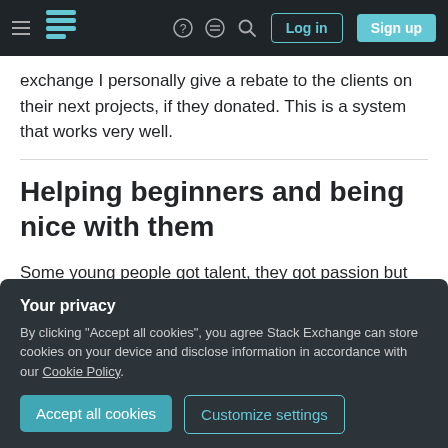Stack Exchange navigation bar with hamburger menu, logo, help, chat, search icons, Log in and Sign up buttons
exchange I personally give a rebate to the clients on their next projects, if they donated. This is a system that works very well.
Helping beginners and being nice with them
Some young people got talent, they got passion but they don't have a mentor, direction, money for their education or someone patient enough to help them
Your privacy
By clicking "Accept all cookies", you agree Stack Exchange can store cookies on your device and disclose information in accordance with our Cookie Policy.
Accept all cookies
Customize settings
some motivated and skilled person that design is